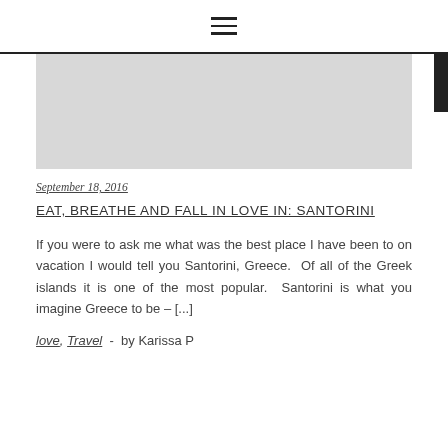≡
[Figure (photo): Grey/blank image placeholder area at top of blog post]
September 18, 2016
EAT, BREATHE AND FALL IN LOVE IN: SANTORINI
If you were to ask me what was the best place I have been to on vacation I would tell you Santorini, Greece. Of all of the Greek islands it is one of the most popular. Santorini is what you imagine Greece to be – [...]
love, Travel - by Karissa P